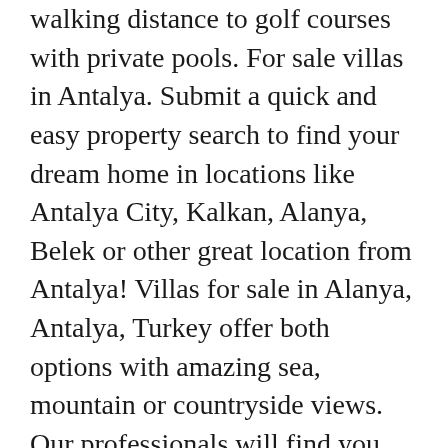walking distance to golf courses with private pools. For sale villas in Antalya. Submit a quick and easy property search to find your dream home in locations like Antalya City, Kalkan, Alanya, Belek or other great location from Antalya! Villas for sale in Alanya, Antalya, Turkey offer both options with amazing sea, mountain or countryside views. Our professionals will find you apartments for sale in Antalya, houses for sale in Antalya, or even villas in Antalya. Newly completed luxury villas in Antalya for sale. Stone Trails for all villas within a coordinated outdoor garden. 180 ads of luxury homes for sale in Antalya: on LuxuryEstate you will find thousands of ads selected by the best real estate agencies in the